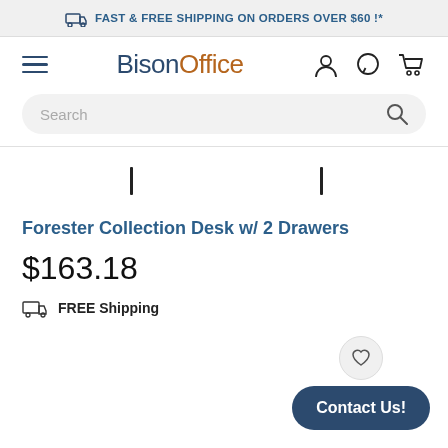FAST & FREE SHIPPING ON ORDERS OVER $60 !*
[Figure (logo): BisonOffice logo with hamburger menu and navigation icons (user, chat, cart)]
[Figure (screenshot): Search bar with placeholder text 'Search' and magnifying glass icon]
[Figure (other): Partial product image crop showing two tick/corner marks]
Forester Collection Desk w/ 2 Drawers
$163.18
FREE Shipping
Contact Us!